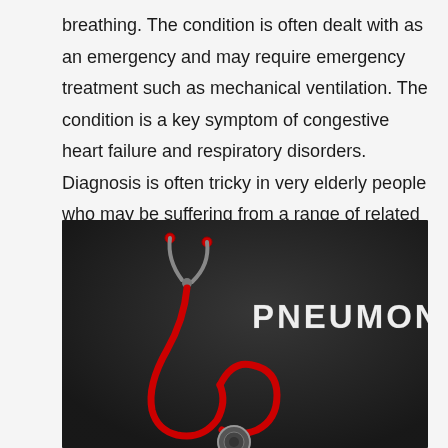breathing. The condition is often dealt with as an emergency and may require emergency treatment such as mechanical ventilation. The condition is a key symptom of congestive heart failure and respiratory disorders. Diagnosis is often tricky in very elderly people who may be suffering from a range of related conditions.
[Figure (photo): A stethoscope with red tubing on a dark chalkboard background. The word PNEUMONIA is written in white chalk-style lettering on the right side of the image.]